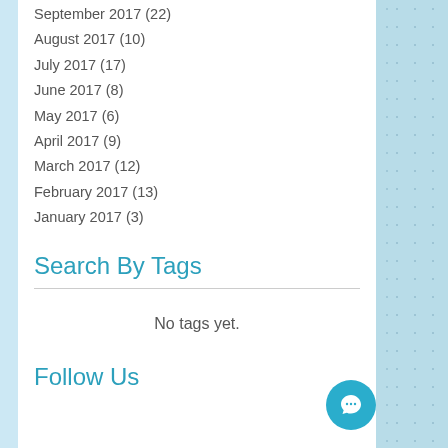September 2017 (22)
August 2017 (10)
July 2017 (17)
June 2017 (8)
May 2017 (6)
April 2017 (9)
March 2017 (12)
February 2017 (13)
January 2017 (3)
Search By Tags
No tags yet.
Follow Us